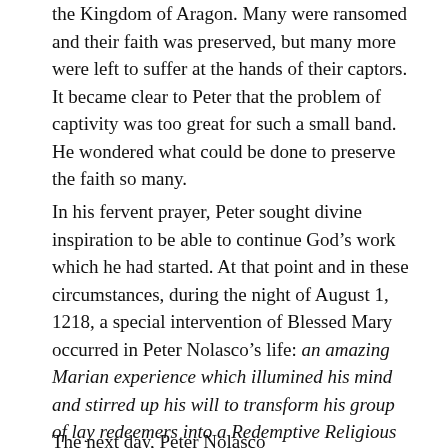the Kingdom of Aragon. Many were ransomed and their faith was preserved, but many more were left to suffer at the hands of their captors. It became clear to Peter that the problem of captivity was too great for such a small band. He wondered what could be done to preserve the faith so many.
In his fervent prayer, Peter sought divine inspiration to be able to continue God's work which he had started. At that point and in these circumstances, during the night of August 1, 1218, a special intervention of Blessed Mary occurred in Peter Nolasco's life: an amazing Marian experience which illumined his mind and stirred up his will to transform his group of lay redeemers into a Redemptive Religious Order. The experience was so profound that it touched the very fabric of Peter's being. He now knew what must be done.
The next day, Peter Nolasco...